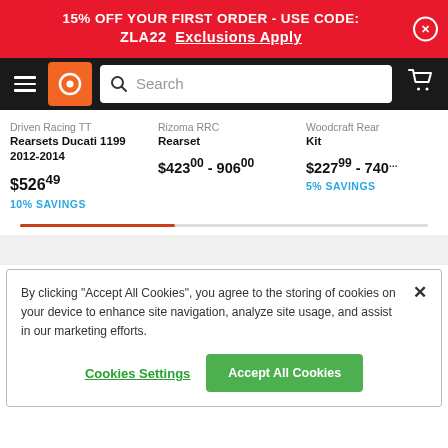15% OFF YOUR FIRST ORDER - USE CODE: ZLA22  Exclusions Apply
[Figure (screenshot): Navigation bar with hamburger menu, orange logo icon, search bar, and cart icon on dark background]
Driven Racing TT Rearsets Ducati 1199 2012-2014
$526.49  10% SAVINGS
Rizoma RRC Rearset
$423.00 - 906.00
Woodcraft Rear Kit
$227.99 - 740  5% SAVINGS
By clicking "Accept All Cookies", you agree to the storing of cookies on your device to enhance site navigation, analyze site usage, and assist in our marketing efforts.
Cookies Settings   Accept All Cookies